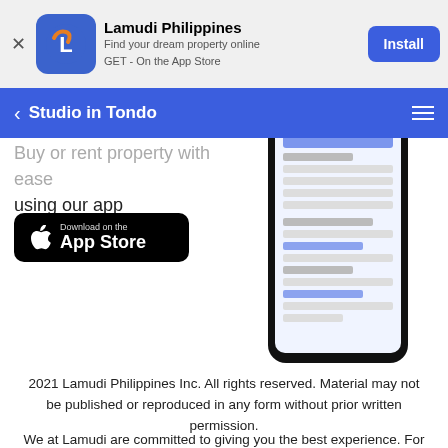[Figure (screenshot): App install banner for Lamudi Philippines with icon, title, subtitle, and Install button]
Studio in Tondo
Buy or rent property with ease using our app
[Figure (screenshot): Download on the App Store button and a phone mockup showing the Lamudi app interface]
2021 Lamudi Philippines Inc. All rights reserved. Material may not be published or reproduced in any form without prior written permission.
We at Lamudi are committed to giving you the best experience. For